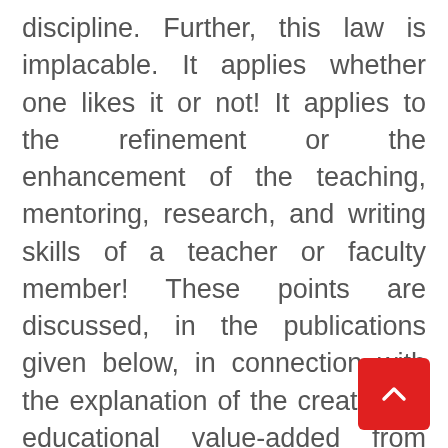discipline. Further, this law is implacable. It applies whether one likes it or not! It applies to the refinement or the enhancement of the teaching, mentoring, research, and writing skills of a teacher or faculty member! These points are discussed, in the publications given below, in connection with the explanation of the creation of educational value-added from pre-K through graduate school and beyond. The integrated law of human performance or simply the law of performance (Education, Vol. 115, No. 1, pp. 31-39, 1994) is the convolution of the power law of performance as simultaneously applied to several tasks